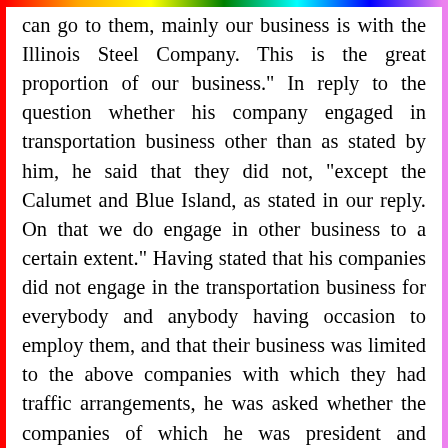can go to them, mainly our business is with the Illinois Steel Company. This is the great proportion of our business." In reply to the question whether his company engaged in transportation business other than as stated by him, he said that they did not, "except the Calumet and Blue Island, as stated in our reply. On that we do engage in other business to a certain extent." Having stated that his companies did not engage in the transportation business for everybody and anybody having occasion to employ them, and that their business was limited to the above companies with which they had traffic arrangements, he was asked whether the companies of which he was president and manager were owned by the Illinois Steel Company. The witness, under the advice of counsel, refused to answer this question.
J.S. Keefe, secretary and auditor of the five roads mentioned, was examined by the Commission as a